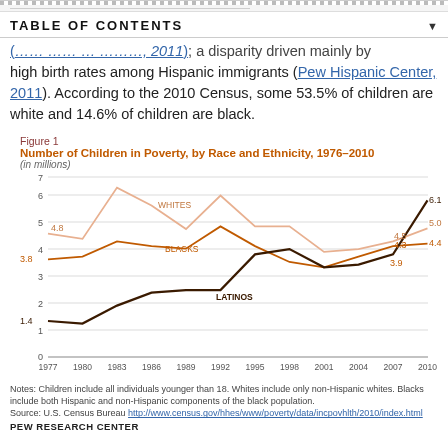[truncated line above table of contents]
TABLE OF CONTENTS
(…); a disparity driven mainly by high birth rates among Hispanic immigrants (Pew Hispanic Center, 2011). According to the 2010 Census, some 53.5% of children are white and 14.6% of children are black.
Figure 1
Number of Children in Poverty, by Race and Ethnicity, 1976–2010
(in millions)
[Figure (line-chart): Number of Children in Poverty, by Race and Ethnicity, 1976-2010]
Notes: Children include all individuals younger than 18. Whites include only non-Hispanic whites. Blacks include both Hispanic and non-Hispanic components of the black population.
Source: U.S. Census Bureau http://www.census.gov/hhes/www/poverty/data/incpovhlth/2010/index.html
PEW RESEARCH CENTER